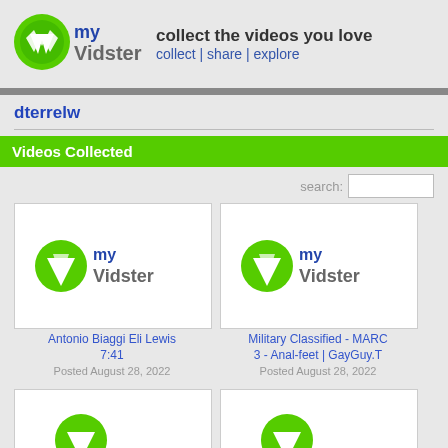[Figure (logo): myVidster logo with green leaf/checkmark icon and blue 'my' text with gray 'Vidster' text]
collect the videos you love
collect | share | explore
dterrelw
Videos Collected
search:
[Figure (logo): myVidster logo placeholder thumbnail for video: Antonio Biaggi Eli Lewis 7:41]
Antonio Biaggi Eli Lewis
7:41
Posted August 28, 2022
[Figure (logo): myVidster logo placeholder thumbnail for video: Military Classified - MARC 3 - Anal-feet | GayGuy.T]
Military Classified - MARC
3 - Anal-feet | GayGuy.T
Posted August 28, 2022
[Figure (screenshot): Partial myVidster logo thumbnail, bottom row left card]
[Figure (screenshot): Partial myVidster logo thumbnail, bottom row right card]